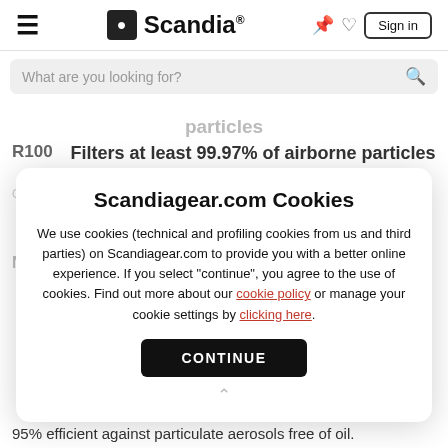Scandia® — Sign in
What are you looking for?
particles
R100  Filters at least 99.97% of airborne particles
Filters at least 80% of airborne particles
Oil Proof  Filters at least 99% of airborne particles
Filters at least 99.97% of airborne particles  R100
NIOSH APPROVED: N
95% efficient against particulate aerosols free of oil.
Scandiagear.com Cookies
We use cookies (technical and profiling cookies from us and third parties) on Scandiagear.com to provide you with a better online experience. If you select "continue", you agree to the use of cookies. Find out more about our cookie policy or manage your cookie settings by clicking here.
CONTINUE